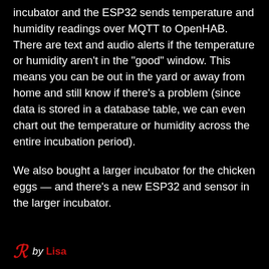incubator and the ESP32 sends temperature and humidity readings over MQTT to OpenHAB. There are text and audio alerts if the temperature or humidity aren't in the "good" window. This means you can be out in the yard or away from home and still know if there's a problem (since data is stored in a database table, we can even chart out the temperature or humidity across the entire incubation period).
We also bought a larger incubator for the chicken eggs — and there's a new ESP32 and sensor in the larger incubator.
by Lisa